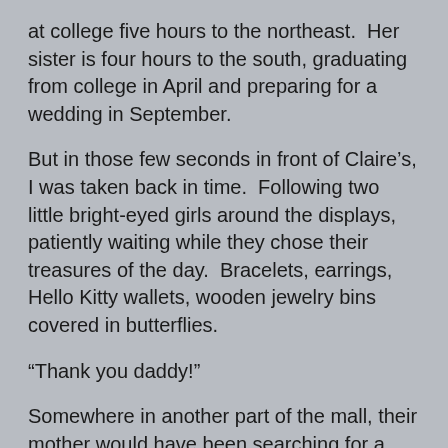at college five hours to the northeast.  Her sister is four hours to the south, graduating from college in April and preparing for a wedding in September.
But in those few seconds in front of Claire's, I was taken back in time.  Following two little bright-eyed girls around the displays, patiently waiting while they chose their treasures of the day.  Bracelets, earrings, Hello Kitty wallets, wooden jewelry bins covered in butterflies.
“Thank you daddy!”
Somewhere in another part of the mall, their mother would have been searching for a new Power Rangers action figure for an energetic and excited little brother.